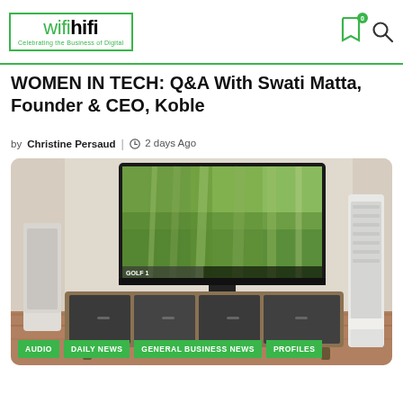wifihifi - Celebrating the Business of Digital
WOMEN IN TECH: Q&A With Swati Matta, Founder & CEO, Koble
by Christine Persaud | 2 days Ago
[Figure (photo): Living room setup with a large flat-screen TV mounted above a dark grey media console/sideboard on wooden legs, flanked by two tall white tower speakers, showing golf content on screen]
AUDIO  DAILY NEWS  GENERAL BUSINESS NEWS  PROFILES